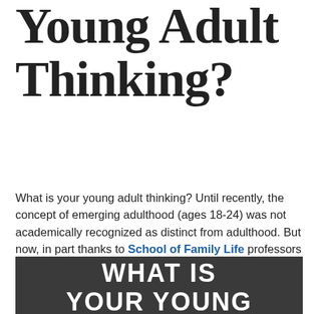Young Adult Thinking?
What is your young adult thinking? Until recently, the concept of emerging adulthood (ages 18-24) was not academically recognized as distinct from adulthood. But now, in part thanks to School of Family Life professors Larry Nelson, Jason Carroll, Brian Willoughby, and Laura Padilla-Walker, researchers are beginning to study it. In a recently-released 2017 Connections article,
[Figure (illustration): Dark gray background with white uppercase text reading WHAT IS YOUR YOUNG ADULT]